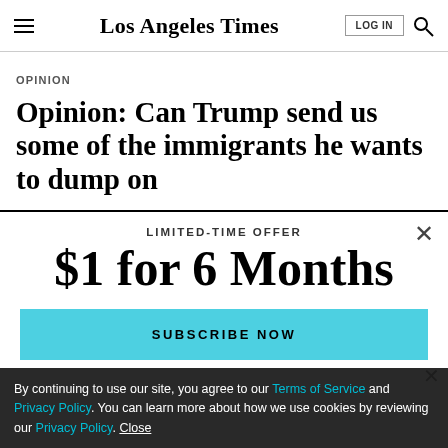Los Angeles Times
OPINION
Opinion: Can Trump send us some of the immigrants he wants to dump on
LIMITED-TIME OFFER
$1 for 6 Months
SUBSCRIBE NOW
By continuing to use our site, you agree to our Terms of Service and Privacy Policy. You can learn more about how we use cookies by reviewing our Privacy Policy. Close
TV's biggest stars, heard them before